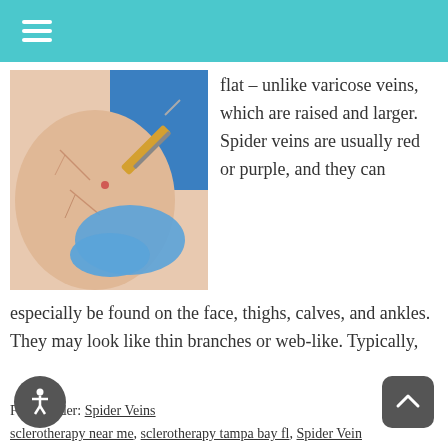[Figure (photo): Medical photo showing a healthcare professional in blue gloves injecting or treating a patient's leg/skin area with a syringe for spider vein treatment (sclerotherapy).]
flat – unlike varicose veins, which are raised and larger. Spider veins are usually red or purple, and they can especially be found on the face, thighs, calves, and ankles. They may look like thin branches or web-like. Typically,
Filed Under: Spider Veins
Tagged With: sclerotherapy near me, sclerotherapy tampa bay fl, Spider Vein